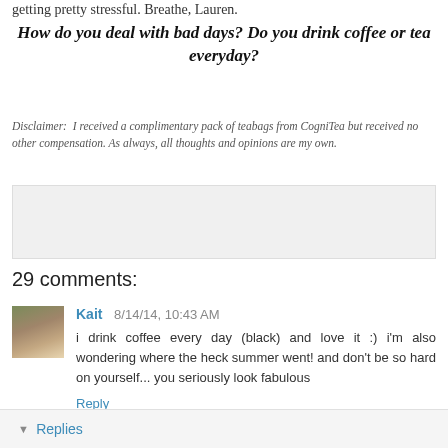getting pretty stressful. Breathe, Lauren.
How do you deal with bad days? Do you drink coffee or tea everyday?
Disclaimer:  I received a complimentary pack of teabags from CogniTea but received no other compensation. As always, all thoughts and opinions are my own.
[Figure (other): Gray advertisement box]
29 comments:
Kait  8/14/14, 10:43 AM
i drink coffee every day (black) and love it :) i'm also wondering where the heck summer went! and don't be so hard on yourself... you seriously look fabulous
Reply
Replies